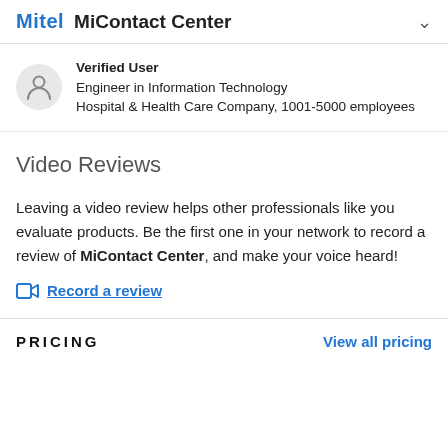Mitel   MiContact Center
Verified User
Engineer in Information Technology
Hospital & Health Care Company, 1001-5000 employees
Video Reviews
Leaving a video review helps other professionals like you evaluate products. Be the first one in your network to record a review of MiContact Center, and make your voice heard!
Record a review
PRICING
View all pricing